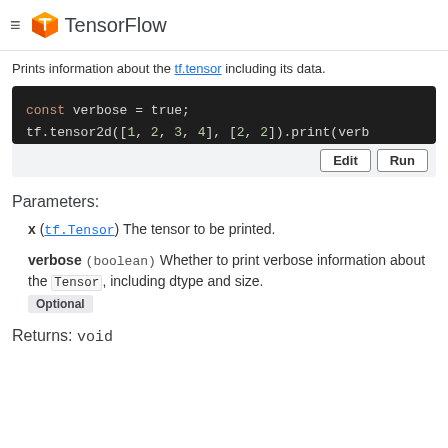TensorFlow
Prints information about the tf.tensor including its data.
[Figure (screenshot): Code block showing: const verbose = true; tf.tensor2d([1, 2, 3, 4], [2, 2]).print(verb... with Edit and Run buttons]
Parameters:
x (tf.Tensor) The tensor to be printed.
verbose (boolean) Whether to print verbose information about the Tensor, including dtype and size. Optional
Returns: void